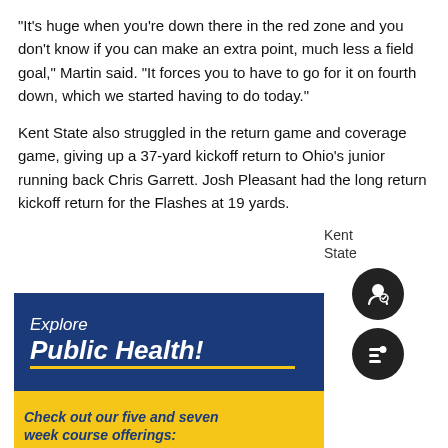"It's huge when you're down there in the red zone and you don't know if you can make an extra point, much less a field goal," Martin said. "It forces you to have to go for it on fourth down, which we started having to do today."
Kent State also struggled in the return game and coverage game, giving up a 37-yard kickoff return to Ohio's junior running back Chris Garrett. Josh Pleasant had the long return kickoff return for the Flashes at 19 yards.
[Figure (infographic): Kent State Explore Public Health advertisement banner showing blue top section with 'Explore Public Health!' text, a gold horizontal line, and yellow bottom section with 'Check out our five and seven week course offerings:' text]
Kent State